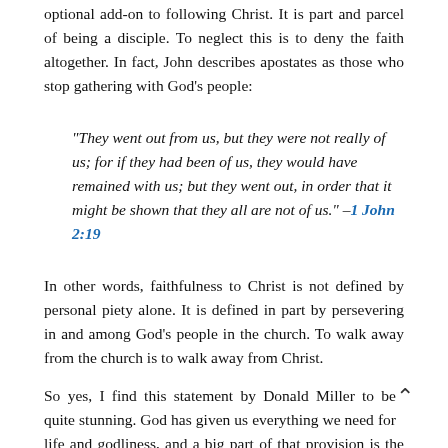optional add-on to following Christ. It is part and parcel of being a disciple. To neglect this is to deny the faith altogether. In fact, John describes apostates as those who stop gathering with God's people:
“They went out from us, but they were not really of us; for if they had been of us, they would have remained with us; but they went out, in order that it might be shown that they all are not of us.” –1 John 2:19
In other words, faithfulness to Christ is not defined by personal piety alone. It is defined in part by persevering in and among God’s people in the church. To walk away from the church is to walk away from Christ.
So yes, I find this statement by Donald Miller to be quite stunning. God has given us everything we need for life and godliness, and a big part of that provision is the fellowship